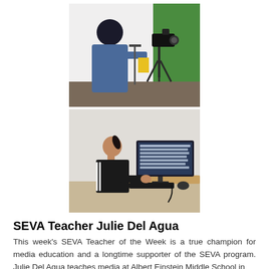[Figure (photo): Person in denim jacket operating a video camera on a tripod in a studio with green screen background]
[Figure (photo): Student in black tracksuit sitting at a desk working on a computer with text on the monitor]
SEVA Teacher Julie Del Agua
This week's SEVA Teacher of the Week is a true champion for media education and a longtime supporter of the SEVA program. Julie Del Agua teaches media at Albert Einstein Middle School in